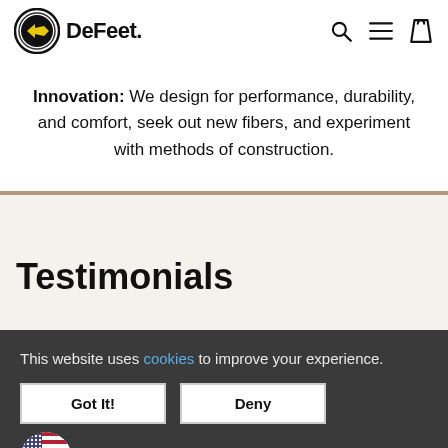DeFeet [logo with search, menu, cart icons]
Innovation: We design for performance, durability, and comfort, seek out new fibers, and experiment with methods of construction.
Testimonials
This website uses cookies to improve your experience. [Got It!] [Deny]